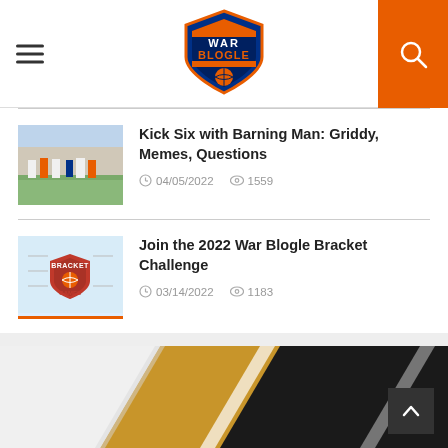War Blogle
Kick Six with Barning Man: Griddy, Memes, Questions
04/05/2022  1559
Join the 2022 War Blogle Bracket Challenge
03/14/2022  1183
[Figure (photo): Diagonal striped design with gold, black, and white diagonal bands]
[Figure (logo): War Blogle shield logo with basketball]